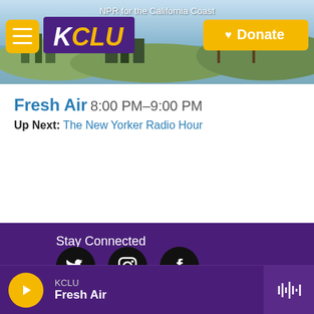[Figure (screenshot): KCLU radio website header banner showing cityscape/coastal scene with NPR for the California Coast text, KCLU logo in purple, hamburger menu button in yellow, and yellow Donate button]
Fresh Air 8:00 PM–9:00 PM
Up Next: The New Yorker Radio Hour
Stay Connected
[Figure (infographic): Three social media icons (Twitter, Instagram, Facebook) as white icons on black circles against purple background]
KCLU Fresh Air — player bar with play button and waveform icon